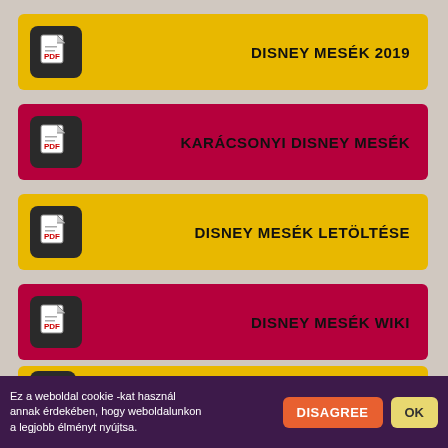DISNEY MESÉK 2019
KARÁCSONYI DISNEY MESÉK
DISNEY MESÉK LETÖLTÉSE
DISNEY MESÉK WIKI
ONLINE DISNEY MESÉK
Ez a weboldal cookie -kat használ annak érdekében, hogy weboldalunkon a legjobb élményt nyújtsa.
DISAGREE
OK